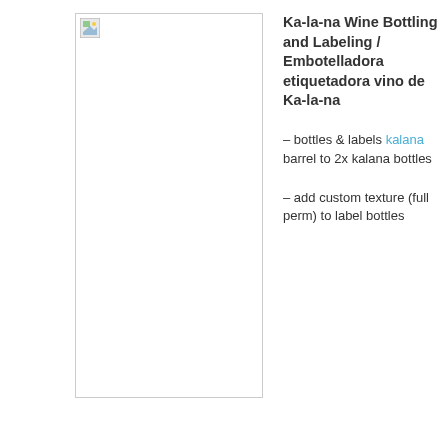[Figure (photo): A tall rectangular image placeholder (broken image icon) with a border, representing a wine bottling and labeling product photo.]
Ka-la-na Wine Bottling and Labeling / Embotelladora etiquetadora vino de Ka-la-na
– bottles & labels kalana barrel to 2x kalana bottles
– add custom texture (full perm) to label bottles